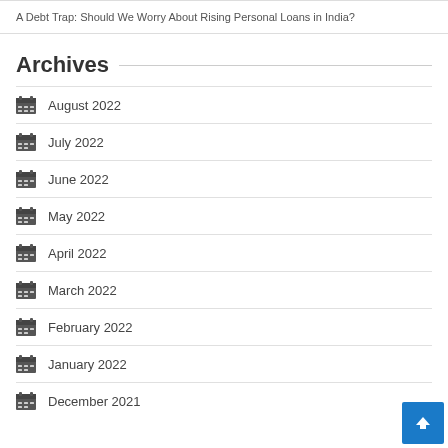A Debt Trap: Should We Worry About Rising Personal Loans in India?
Archives
August 2022
July 2022
June 2022
May 2022
April 2022
March 2022
February 2022
January 2022
December 2021